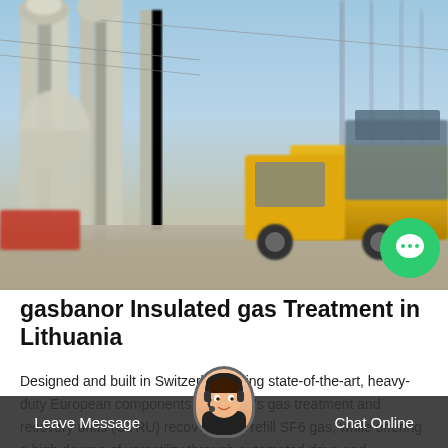[Figure (photo): Photograph of an electrical substation with large transformer structures and a yellow utility truck parked in the foreground. A green chat bubble icon appears in the lower right of the image.]
gasbanor Insulated gas Treatment in Lithuania
Designed and built in Switzerland using state-of-the-art, heavy-duty European components, Micafluid's gas treatment and recovery units (GTRU) recover, dry and refill SF6 gas, while offering a high degree of versatility through automated drive and